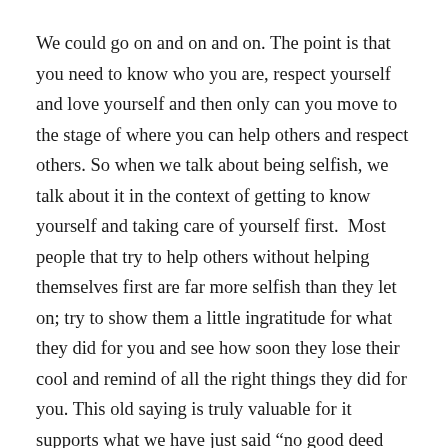We could go on and on and on. The point is that you need to know who you are, respect yourself and love yourself and then only can you move to the stage of where you can help others and respect others. So when we talk about being selfish, we talk about it in the context of getting to know yourself and taking care of yourself first.  Most people that try to help others without helping themselves first are far more selfish than they let on; try to show them a little ingratitude for what they did for you and see how soon they lose their cool and remind of all the right things they did for you. This old saying is truly valuable for it supports what we have just said “no good deed goes unpunished” or “the road to hell is paved with good intentions”.
We are talking in general terms; there are always exceptions to the rules. For example, there are some incredibly good doctors out there (in fact brilliant would be the right word) that